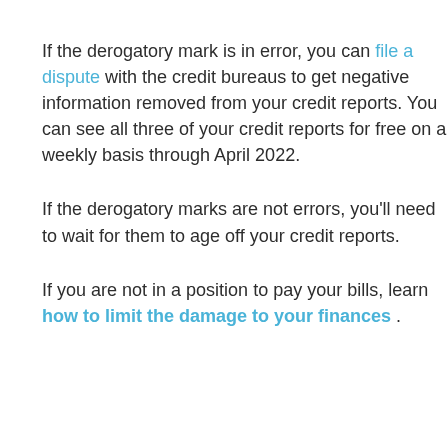If the derogatory mark is in error, you can file a dispute with the credit bureaus to get negative information removed from your credit reports. You can see all three of your credit reports for free on a weekly basis through April 2022.
If the derogatory marks are not errors, you'll need to wait for them to age off your credit reports.
If you are not in a position to pay your bills, learn how to limit the damage to your finances .